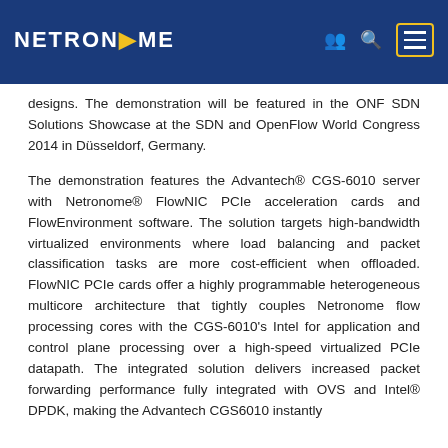NETRONOME
designs. The demonstration will be featured in the ONF SDN Solutions Showcase at the SDN and OpenFlow World Congress 2014 in Düsseldorf, Germany.
The demonstration features the Advantech® CGS-6010 server with Netronome® FlowNIC PCIe acceleration cards and FlowEnvironment software. The solution targets high-bandwidth virtualized environments where load balancing and packet classification tasks are more cost-efficient when offloaded. FlowNIC PCIe cards offer a highly programmable heterogeneous multicore architecture that tightly couples Netronome flow processing cores with the CGS-6010's Intel for application and control plane processing over a high-speed virtualized PCIe datapath. The integrated solution delivers increased packet forwarding performance fully integrated with OVS and Intel® DPDK, making the Advantech CGS6010 instantly